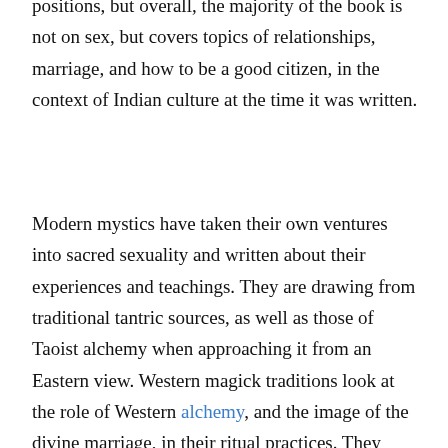positions, but overall, the majority of the book is not on sex, but covers topics of relationships, marriage, and how to be a good citizen, in the context of Indian culture at the time it was written.
Modern mystics have taken their own ventures into sacred sexuality and written about their experiences and teachings. They are drawing from traditional tantric sources, as well as those of Taoist alchemy when approaching it from an Eastern view. Western magick traditions look at the role of Western alchemy, and the image of the divine marriage, in their ritual practices. They have expanded upon the explorations of the modern occult revival that has combined theories and teachings of both the East and West.